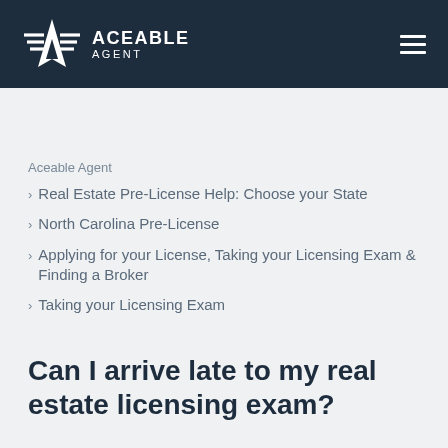ACEABLE AGENT
Aceable Agent
Real Estate Pre-License Help: Choose your State
North Carolina Pre-License
Applying for your License, Taking your Licensing Exam & Finding a Broker
Taking your Licensing Exam
Can I arrive late to my real estate licensing exam?